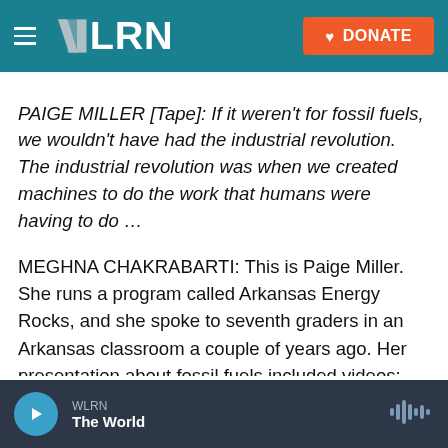WLRN — DONATE
PAIGE MILLER [Tape]: If it weren't for fossil fuels, we wouldn't have had the industrial revolution. The industrial revolution was when we created machines to do the work that humans were having to do …
MEGHNA CHAKRABARTI: This is Paige Miller. She runs a program called Arkansas Energy Rocks, and she spoke to seventh graders in an Arkansas classroom a couple of years ago. Her presentation about fossil fuels included videos:
Arkansas Energy Rocks video [Tape]: Hydraulic
WLRN — The World